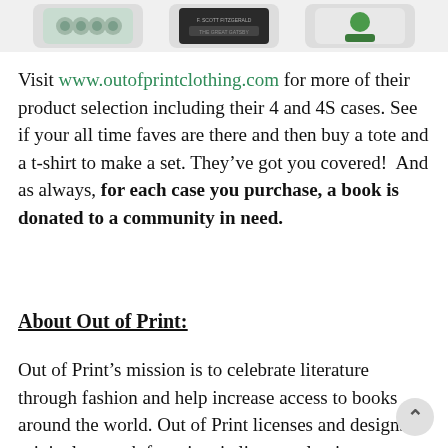[Figure (photo): Three product images (iPhone cases/products) partially visible at the top of the page]
Visit www.outofprintclothing.com for more of their product selection including their 4 and 4S cases. See if your all time faves are there and then buy a tote and a t-shirt to make a set. They've got you covered!  And as always, for each case you purchase, a book is donated to a community in need.
About Out of Print:
Out of Print's mission is to celebrate literature through fashion and help increase access to books around the world. Out of Print licenses and designs original artwork from iconic literary classics to create unique conversation starters in the form of apparel, tote bags, iPhone cases, stationery items, accessories and novelty gift items. To date, Out of Print has helped donate